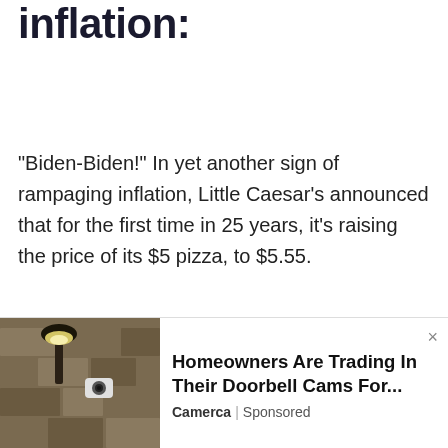inflation:
"Biden-Biden!" In yet another sign of rampaging inflation, Little Caesar's announced that for the first time in 25 years, it's raising the price of its $5 pizza, to $5.55.
https://redstate.com/bonchie/2022/01/04/joe-biden-has-destroyed-another-great-american-institution-n501721
5. Another day,
[Figure (photo): Advertisement overlay showing a doorbell camera mounted on a stone wall, with ad text: Homeowners Are Trading In Their Doorbell Cams For... by Camerca | Sponsored]